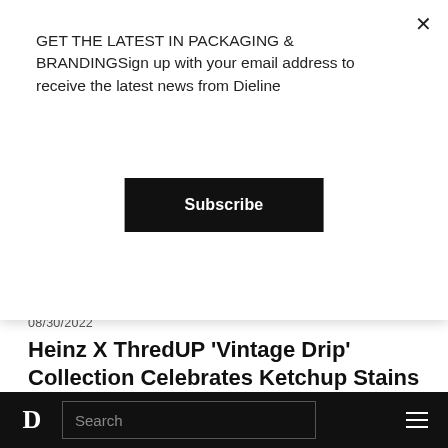GET THE LATEST IN PACKAGING & BRANDINGSign up with your email address to receive the latest news from Dieline
Subscribe
08/30/2022
Heinz X ThredUP 'Vintage Drip' Collection Celebrates Ketchup Stains
[Figure (photo): Product photo showing LUPii Mighty mini boxes in purple/green, yellow/pink, and orange/red colorways on a tan background]
D Search ≡